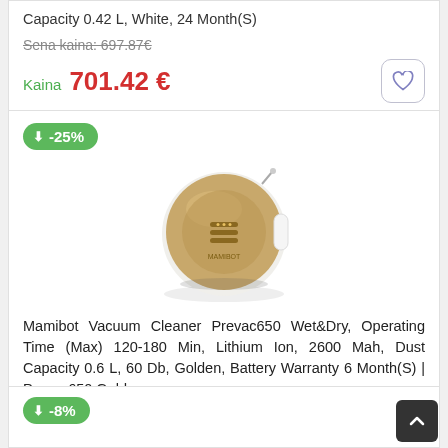Capacity 0.42 L, White, 24 Month(S)
Sena kaina: 697.87€
Kaina  701.42 €
[Figure (photo): Mamibot Prevac650 robot vacuum cleaner in golden/champagne color, circular shape, top-down view]
-25%
Mamibot Vacuum Cleaner Prevac650 Wet&Dry, Operating Time (Max) 120-180 Min, Lithium Ion, 2600 Mah, Dust Capacity 0.6 L, 60 Db, Golden, Battery Warranty 6 Month(S) | Prevac650 Golden
Sena kaina: 189.28€
Kaina  142.3 €
-8%